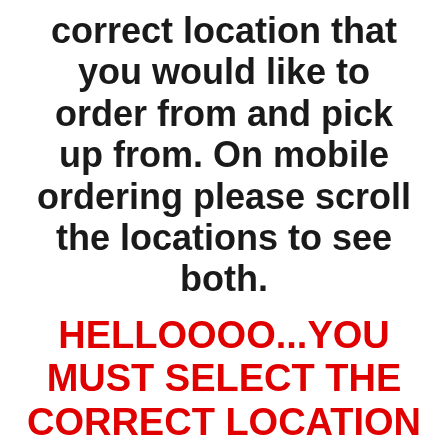correct location that you would like to order from and pick up from. On mobile ordering please scroll the locations to see both.
HELLOOOO...YOU MUST SELECT THE CORRECT LOCATION WHEN ORDERING FOR PICK UP AND OR